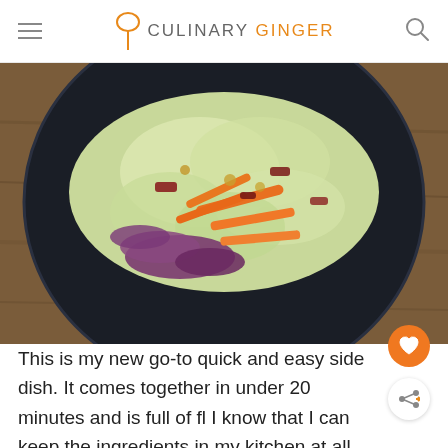CULINARY GINGER
[Figure (photo): Top-down view of a dark bowl containing a colorful slaw or salad with shredded cabbage (green and purple), orange carrot strips, and bits of bacon, placed on a rustic wooden surface.]
This is my new go-to quick and easy side dish. It comes together in under 20 minutes and is full of fl I know that I can keep the ingredients in my kitchen at all times and I can whip this up in no time to go with baked chicken breasts, or juicy piece of beef. The